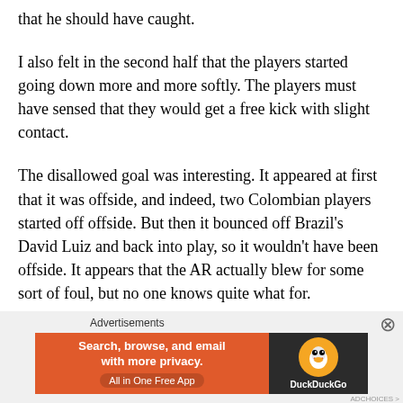that he should have caught.
I also felt in the second half that the players started going down more and more softly. The players must have sensed that they would get a free kick with slight contact.
The disallowed goal was interesting. It appeared at first that it was offside, and indeed, two Colombian players started off offside. But then it bounced off Brazil’s David Luiz and back into play, so it wouldn’t have been offside. It appears that the AR actually blew for some sort of foul, but no one knows quite what for.
Advertisements
[Figure (other): DuckDuckGo advertisement banner: orange background with text 'Search, browse, and email with more privacy. All in One Free App' on the left, dark right side with DuckDuckGo duck logo and brand name]